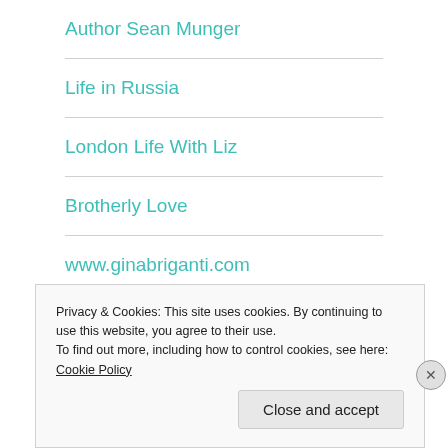Author Sean Munger
Life in Russia
London Life With Liz
Brotherly Love
www.ginabriganti.com
Alex Raphael
Privacy & Cookies: This site uses cookies. By continuing to use this website, you agree to their use.
To find out more, including how to control cookies, see here: Cookie Policy
Close and accept